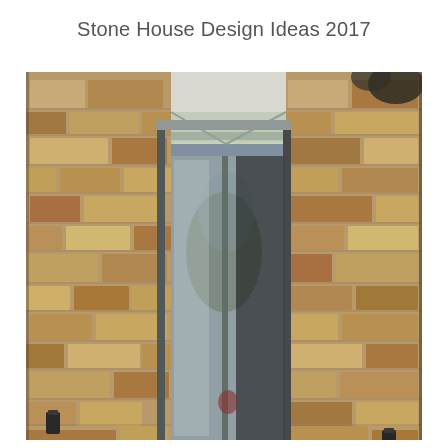Stone House Design Ideas 2017
[Figure (photo): Exterior photograph of a stone house showing a modern glass box extension or entrance porch set between traditional Yorkshire sandstone walls. The glass structure has a metal-framed flat/sloped glass roof with grey metal guttering above. Black drainpipes are visible on both sides. Two black wall-mounted outdoor lights are attached to the stone walls on either side. The glass panels reflect trees and sky. A red item is faintly visible inside the glass entrance.]